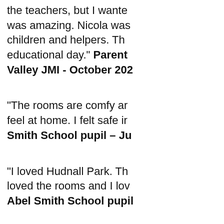the teachers, but I wante was amazing. Nicola was children and helpers. Th educational day." Parent Valley JMI - October 202
"The rooms are comfy ar feel at home. I felt safe ir Smith School pupil – Ju
"I loved Hudnall Park. Th loved the rooms and I lov Abel Smith School pupil
"I had the best experienc
and to understand where our visitors are coming from. By browsing our website, you consent to our use of cookies and other tracking technologies.
I agree
Change my preferences